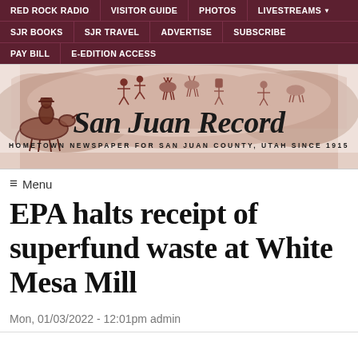RED ROCK RADIO | VISITOR GUIDE | PHOTOS | LIVESTREAMS | SJR BOOKS | SJR TRAVEL | ADVERTISE | SUBSCRIBE | PAY BILL | E-EDITION ACCESS
[Figure (illustration): San Juan Record newspaper masthead banner with petroglyphs and a cowboy on horseback illustration. Text reads 'San Juan Record - HOMETOWN NEWSPAPER FOR SAN JUAN COUNTY, UTAH SINCE 1915']
≡ Menu
EPA halts receipt of superfund waste at White Mesa Mill
Mon, 01/03/2022 - 12:01pm admin